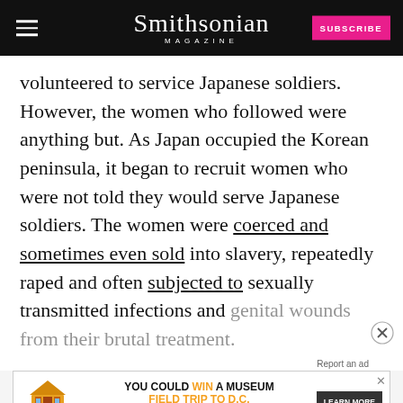Smithsonian MAGAZINE
volunteered to service Japanese soldiers. However, the women who followed were anything but. As Japan occupied the Korean peninsula, it began to recruit women who were not told they would serve Japanese soldiers. The women were coerced and sometimes even sold into slavery, repeatedly raped and often subjected to sexually transmitted infections and genital wounds from their brutal treatment.
[Figure (screenshot): Quaker Museum Day advertisement banner: YOU COULD WIN A MUSEUM FIELD TRIP TO D.C. with LEARN MORE button]
The r... was considered top secret by the Japanese.